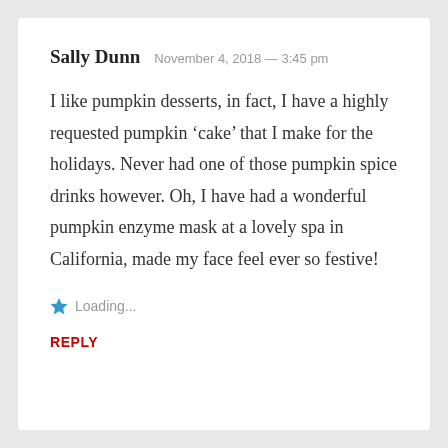Sally Dunn  November 4, 2018 — 3:45 pm
I like pumpkin desserts, in fact, I have a highly requested pumpkin ‘cake’ that I make for the holidays. Never had one of those pumpkin spice drinks however. Oh, I have had a wonderful pumpkin enzyme mask at a lovely spa in California, made my face feel ever so festive!
Loading...
REPLY